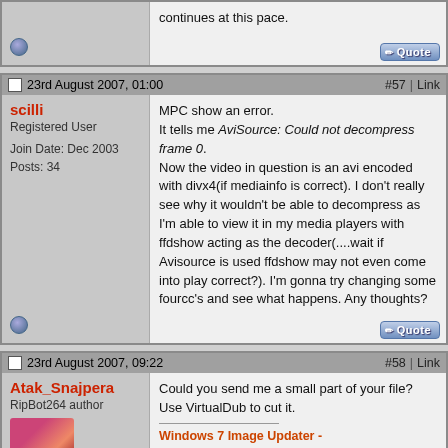continues at this pace.
#57 | Link
23rd August 2007, 01:00
scilli
Registered User
Join Date: Dec 2003
Posts: 34
MPC show an error.
It tells me AviSource: Could not decompress frame 0.
Now the video in question is an avi encoded with divx4(if mediainfo is correct). I don't really see why it wouldn't be able to decompress as I'm able to view it in my media players with ffdshow acting as the decoder(....wait if Avisource is used ffdshow may not even come into play correct?). I'm gonna try changing some fourcc's and see what happens. Any thoughts?
#58 | Link
23rd August 2007, 09:22
Atak_Snajpera
RipBot264 author
Could you send me a small part of your file? Use VirtualDub to cut it.
Windows 7 Image Updater - Slav|.aks|Kabul.aks|Coffee|.aks|Ryzen